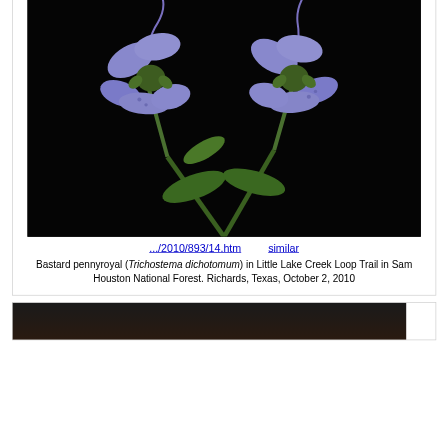[Figure (photo): Top portion of a plant photo card, showing cropped bottom of an Elephant foot plant image]
.../2014/1456/07.htm    similar
Elephant foot (Elephantopus carolinianus) on Little Lake Creek Loop Trail in Sam Houston National Forest. Richards, Texas, July 13, 2014
[Figure (photo): Bastard pennyroyal (Trichostema dichotomum) flowers — purple blooms against black background]
.../2010/893/14.htm    similar
Bastard pennyroyal (Trichostema dichotomum) in Little Lake Creek Loop Trail in Sam Houston National Forest. Richards, Texas, October 2, 2010
[Figure (photo): Bottom cropped photo card, partially visible]